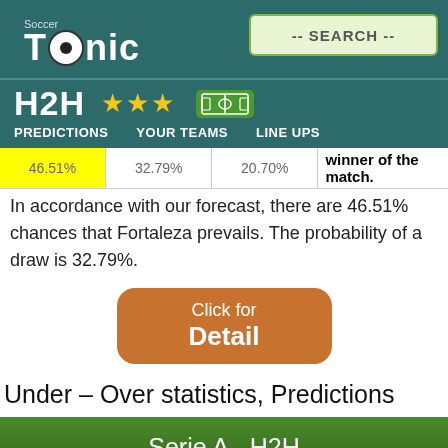Soccer Tonic — navigation header with H2H, YOUR TEAMS, LINE UPS
winner of the match. In accordance with our forecast, there are 46.51% chances that Fortaleza prevails. The probability of a draw is 32.79%.
Click for Detail
Under – Over statistics, Predictions
Serie A - H2H
Matches combined